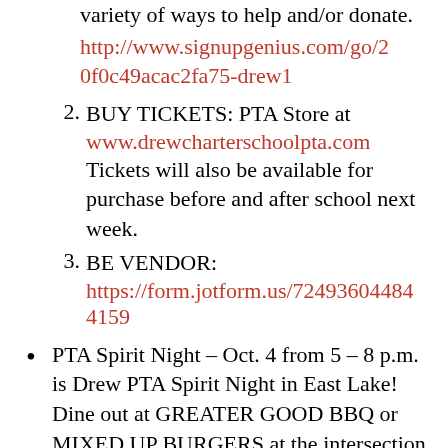variety of ways to help and/or donate.
http://www.signupgenius.com/go/20f0c49acac2fa75-drew1
2. BUY TICKETS: PTA Store at www.drewcharterschoolpta.com Tickets will also be available for purchase before and after school next week.
3. BE VENDOR: https://form.jotform.us/72493604484159
PTA Spirit Night – Oct. 4 from 5 – 8 p.m. is Drew PTA Spirit Night in East Lake! Dine out at GREATER GOOD BBQ or MIXED UP BURGERS at the intersection of 2nd Avenue and Hosea Williams Drive in East Lake and they will donate...